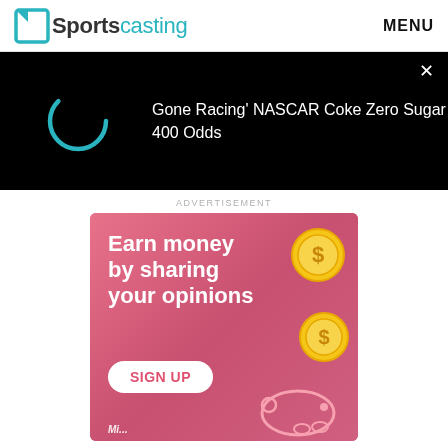Sportscasting | MENU
[Figure (screenshot): Dark video player banner showing a loading spinner and text: Gone Racing' NASCAR Coke Zero Sugar 400 Odds, with a close (x) button in top right]
ADVERTISEMENT
[Figure (illustration): Pink advertisement banner reading 'Earn money by sharing your opinions' with gold coin icons, a SIGN UP button, and a piggy bank illustration at the bottom]